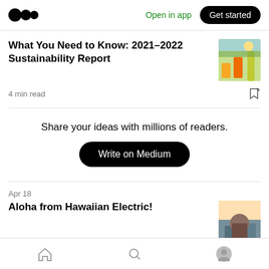Medium — Open in app  Get started
What You Need to Know: 2021–2022 Sustainability Report
4 min read
Share your ideas with millions of readers.
Write on Medium
Apr 18
Aloha from Hawaiian Electric!
4 min read
Home  Search  Profile